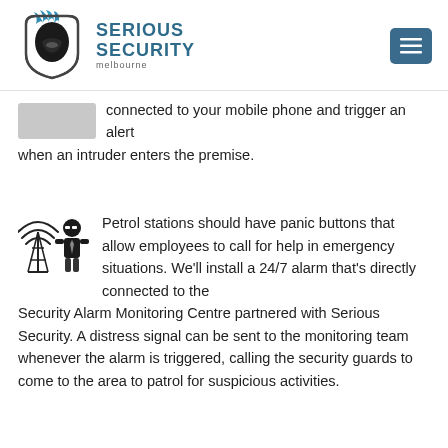[Figure (logo): Serious Security Melbourne logo with Spartan helmet icon and blue text]
connected to your mobile phone and trigger an alert when an intruder enters the premise.
[Figure (illustration): Security monitoring icon with radio tower and agent figure]
Petrol stations should have panic buttons that allow employees to call for help in emergency situations. We'll install a 24/7 alarm that's directly connected to the Security Alarm Monitoring Centre partnered with Serious Security. A distress signal can be sent to the monitoring team whenever the alarm is triggered, calling the security guards to come to the area to patrol for suspicious activities.